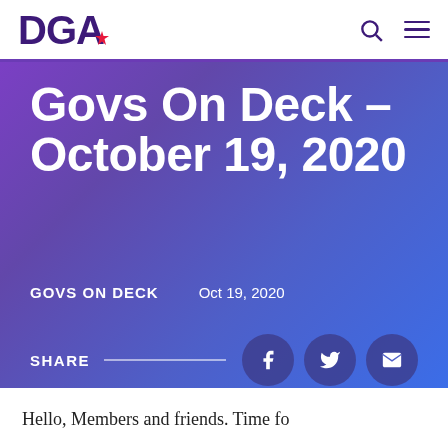DGA
Govs On Deck – October 19, 2020
GOVS ON DECK   Oct 19, 2020
SHARE
Hello, Members and friends. Time for...